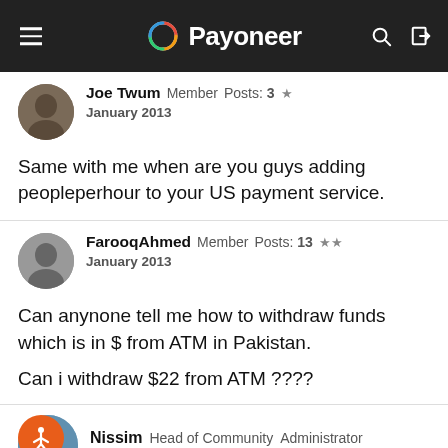Payoneer
Joe Twum  Member  Posts: 3  ★
January 2013
Same with me when are you guys adding peopleperhour to your US payment service.
FarooqAhmed  Member  Posts: 13  ★★
January 2013
Can anynone tell me how to withdraw funds which is in $ from ATM in Pakistan.

Can i withdraw $22 from ATM ????
Nissim  Head of Community  Administrator